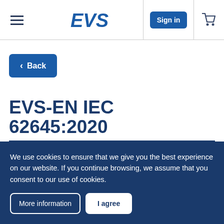EVS — Sign in
‹ Back
EVS-EN IEC 62645:2020
Nuclear power plants - Instrumentation, control and electrical power systems
We use cookies to ensure that we give you the best experience on our website. If you continue browsing, we assume that you consent to our use of cookies.
More information | I agree